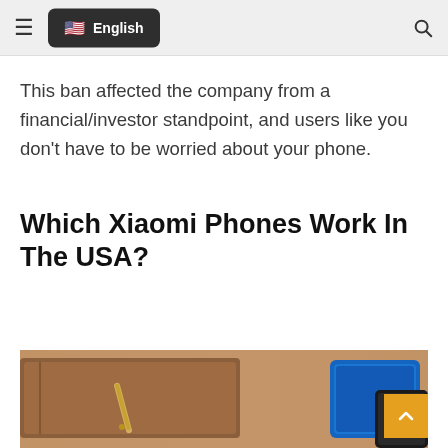English
This ban affected the company from a financial/investor standpoint, and users like you don’t have to be worried about your phone.
Which Xiaomi Phones Work In The USA?
[Figure (photo): Photo of a brown leather notebook with a pen and a smartphone on a wooden surface, with a blue device visible.]